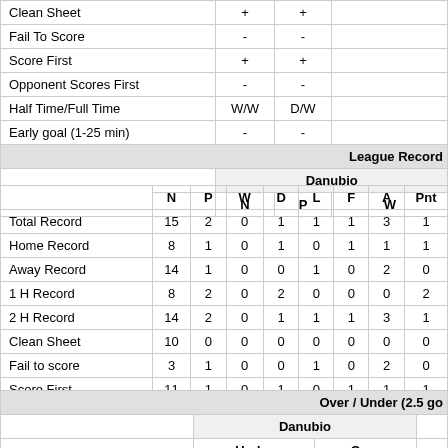|  | + | + |
| --- | --- | --- |
| Clean Sheet | + | + |
| Fail To Score | - | - |
| Score First | + | + |
| Opponent Scores First | - | - |
| Half Time/Full Time | W/W | D/W |
| Early goal (1-25 min) | - | - |
|  | N | P | W | D | L | F | A | Pnt |
| --- | --- | --- | --- | --- | --- | --- | --- | --- |
| Total Record | 15 | 2 | 0 | 1 | 1 | 1 | 3 | 1 |
| Home Record | 8 | 1 | 0 | 1 | 0 | 1 | 1 | 1 |
| Away Record | 14 | 1 | 0 | 0 | 1 | 0 | 2 | 0 |
| 1 H Record | 8 | 2 | 0 | 2 | 0 | 0 | 0 | 2 |
| 2 H Record | 14 | 2 | 0 | 1 | 1 | 1 | 3 | 1 |
| Clean Sheet | 10 | 0 | 0 | 0 | 0 | 0 | 0 | 0 |
| Fail to score | 3 | 1 | 0 | 0 | 1 | 0 | 2 | 0 |
| Score First | 11 | 1 | 0 | 1 | 0 | 1 | 1 | 1 |
| Opp. Scores First | 3 | 1 | 0 | 0 | 1 | 0 | 2 | 0 |
| Danubio | Under | Over |
| --- | --- | --- |